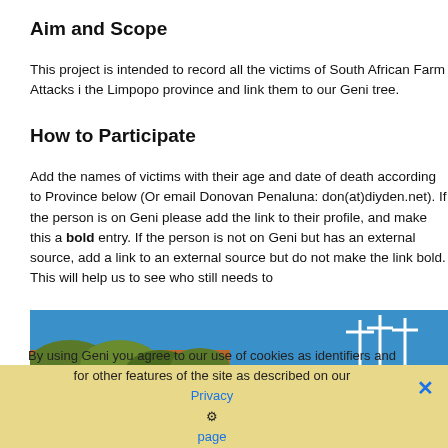Aim and Scope
This project is intended to record all the victims of South African Farm Attacks in the Limpopo province and link them to our Geni tree.
How to Participate
Add the names of victims with their age and date of death according to Province below (Or email Donovan Penaluna: don(at)diyden.net). If the person is on Geni please add the link to their profile, and make this a bold entry. If the person is not on Geni but has an external source, add a link to an external source but do not make the link bold. This will help us to see who still needs to
[Figure (photo): Banner image showing crosses on a hillside with yellow text reading 'Farm Attack Vic' (cropped) on a blue background]
By using Geni you agree to our use of cookies as identifiers and for other features of the site as described on our Privacy page.